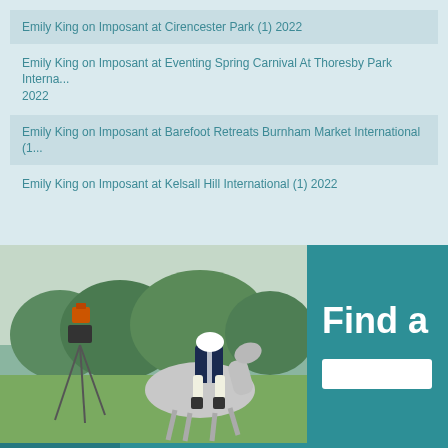Emily King on Imposant at Cirencester Park (1) 2022
Emily King on Imposant at Eventing Spring Carnival At Thoresby Park Interna... 2022
Emily King on Imposant at Barefoot Retreats Burnham Market International (1...
Emily King on Imposant at Kelsall Hill International (1) 2022
[Figure (photo): Equestrian rider on grey horse at an outdoor eventing competition, with camera equipment on tripod in foreground and green trees in background]
Find a
An Eventful Life
An Eventful Life - The book
Contact us
Media
Advertiser inf...
Promote You...